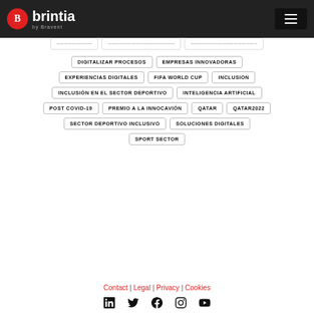brintia by Bravent
DIGITALIZAR PROCESOS
EMPRESAS INNOVADORAS
EXPERIENCIAS DIGITALES
FIFA WORLD CUP
INCLUSION
INCLUSIÓN EN EL SECTOR DEPORTIVO
INTELIGENCIA ARTIFICIAL
POST COVID-19
PREMIO A LA INNOCAVIÓN
QATAR
QATAR2022
SECTOR DEPORTIVO INCLUSIVO
SOLUCIONES DIGITALES
SPORT SECTOR
Contact | Legal | Privacy | Cookies